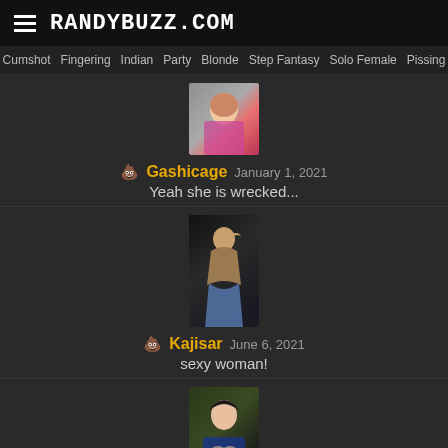RANDYBUZZ.COM
Cumshot  Fingering  Indian  Party  Blonde  Step Fantasy  Solo Female  Pissing
[Figure (photo): Avatar photo of user Gashicage]
Gashicage  January 1, 2021
Yeah she is wrecked...
[Figure (photo): Avatar photo of user Kajisar showing muscular figure]
Kajisar  June 6, 2021
sexy woman!
[Figure (photo): Avatar photo of user Dishicage]
Dishicage  August 8, 2021
that view is amazing.